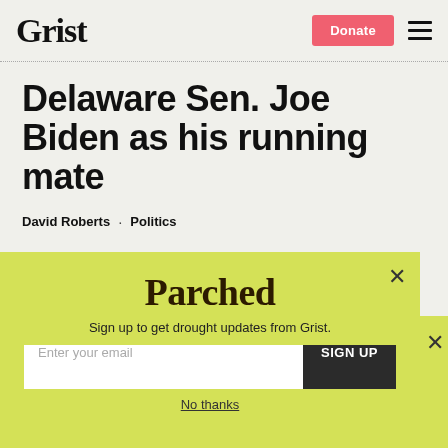Grist | Donate
Delaware Sen. Joe Biden as his running mate
David Roberts · Politics
[Figure (screenshot): Partial banner ad for 2022 Climate Jobs Summit with blue background and sky imagery]
[Figure (screenshot): Parched popup overlay with yellow-green background, Parched logo, email signup form with 'Enter your email' input and SIGN UP button, and 'No thanks' link]